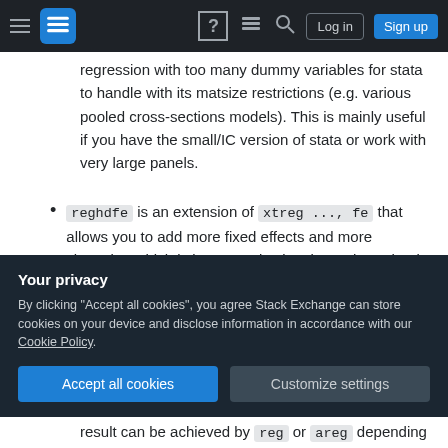Stack Exchange navigation bar with hamburger menu, logo, help, chat, search icons, Log in and Sign up buttons
regression with too many dummy variables for stata to handle with its matsize restrictions (e.g. various pooled cross-sections models). This is mainly useful if you have the small/IC version of stata or work with very large panels.
reghdfe is an extension of xtreg ..., fe that allows you to add more fixed effects and more clustering which is important in situations where that is appropriate.
The reason why you are getting similar result is that
Your privacy
By clicking "Accept all cookies", you agree Stack Exchange can store cookies on your device and disclose information in accordance with our Cookie Policy.
Accept all cookies    Customize settings
result can be achieved by reg or areg depending